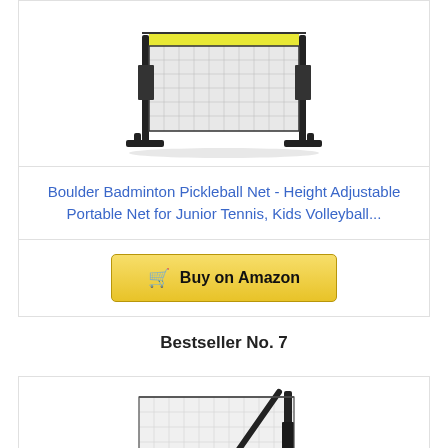[Figure (photo): Boulder Badminton Pickleball net product photo - portable adjustable net with black frame and yellow top stripe on white background]
Boulder Badminton Pickleball Net - Height Adjustable Portable Net for Junior Tennis, Kids Volleyball...
Buy on Amazon
Bestseller No. 7
[Figure (photo): Badminton/tennis net product photo - white net with black diagonal support pole on white background]